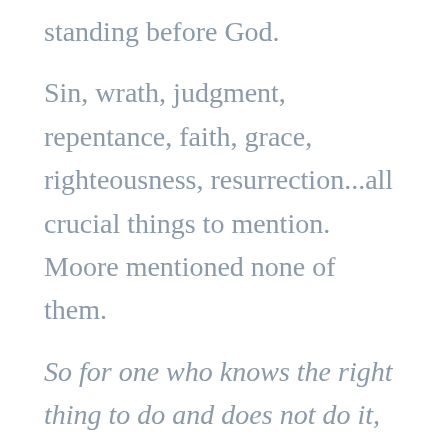standing before God.
Sin, wrath, judgment, repentance, faith, grace, righteousness, resurrection...all crucial things to mention. Moore mentioned none of them.
So for one who knows the right thing to do and does not do it, for him it is sin. (James 4:7)